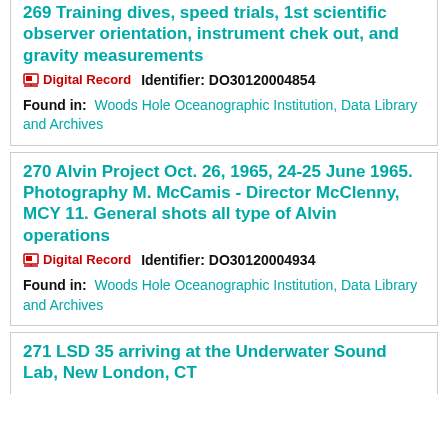269 Training dives, speed trials, 1st scientific observer orientation, instrument chek out, and gravity measurements
Digital Record   Identifier: DO30120004854
Found in: Woods Hole Oceanographic Institution, Data Library and Archives
270 Alvin Project Oct. 26, 1965, 24-25 June 1965. Photography M. McCamis - Director McClenny, MCY 11. General shots all type of Alvin operations
Digital Record   Identifier: DO30120004934
Found in: Woods Hole Oceanographic Institution, Data Library and Archives
271 LSD 35 arriving at the Underwater Sound Lab, New London, CT